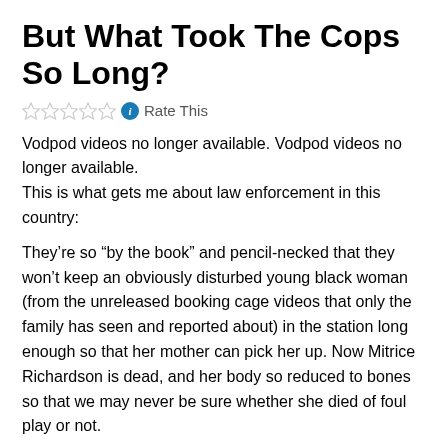But What Took The Cops So Long?
☆☆☆☆☆ ℹ Rate This
Vodpod videos no longer available. Vodpod videos no longer available.
This is what gets me about law enforcement in this country:
They're so “by the book” and pencil-necked that they won’t keep an obviously disturbed young black woman (from the unreleased booking cage videos that only the family has seen and reported about) in the station long enough so that her mother can pick her up. Now Mitrice Richardson is dead, and her body so reduced to bones so that we may never be sure whether she died of foul play or not.